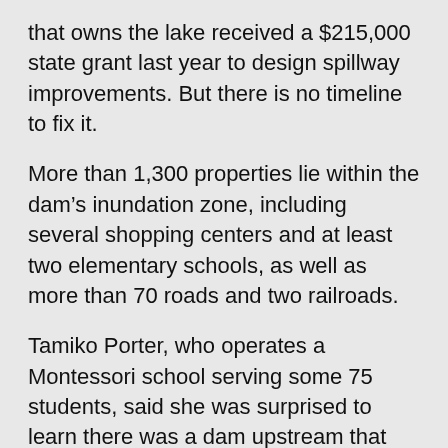that owns the lake received a $215,000 state grant last year to design spillway improvements. But there is no timeline to fix it.
More than 1,300 properties lie within the dam's inundation zone, including several shopping centers and at least two elementary schools, as well as more than 70 roads and two railroads.
Tamiko Porter, who operates a Montessori school serving some 75 students, said she was surprised to learn there was a dam upstream that could flood her school if it failed.
“Oh God, please let it happen when my kids aren’t here,” Porter said.
Norwood emergency management director Bernard Cooper said there is no imminent risk of dam failure.
“Yes, it needs work. The spillway should be rebuilt